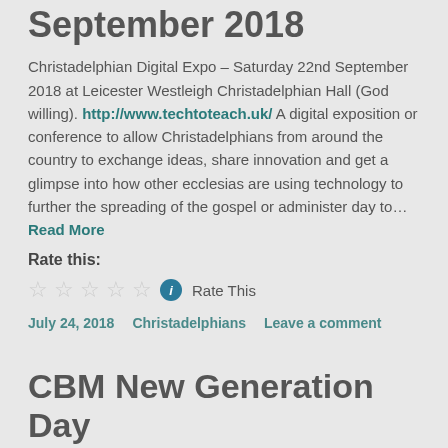September 2018
Christadelphian Digital Expo - Saturday 22nd September 2018 at Leicester Westleigh Christadelphian Hall (God willing). http://www.techtoteach.uk/ A digital exposition or conference to allow Christadelphians from around the country to exchange ideas, share innovation and get a glimpse into how other ecclesias are using technology to further the spreading of the gospel or administer day to… Read More
Rate this:
Rate This
July 24, 2018   Christadelphians   Leave a comment
CBM New Generation Day